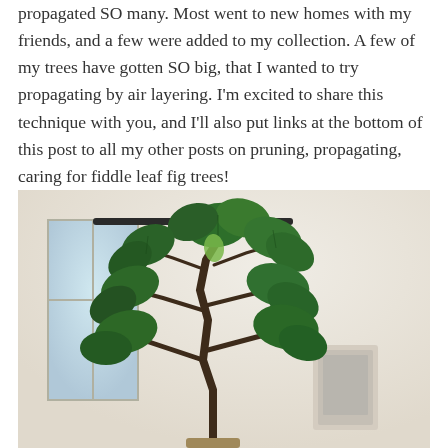propagated SO many. Most went to new homes with my friends, and a few were added to my collection. A few of my trees have gotten SO big, that I wanted to try propagating by air layering. I'm excited to share this technique with you, and I'll also put links at the bottom of this post to all my other posts on pruning, propagating, caring for fiddle leaf fig trees!
[Figure (photo): A large fiddle leaf fig tree (Ficus lyrata) with big dark green leaves, photographed indoors near a window in a bright room with white walls. A framed picture is visible in the background.]